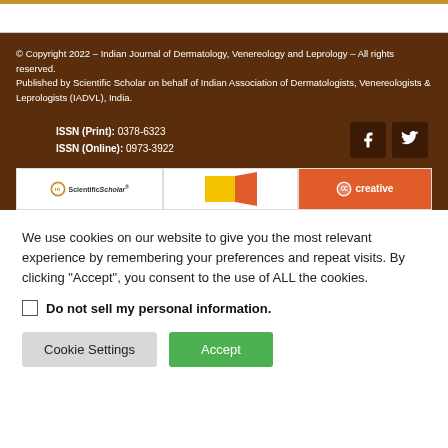© Copyright 2022 – Indian Journal of Dermatology, Venereology and Leprology – All rights reserved.
Published by Scientific Scholar on behalf of Indian Association of Dermatologists, Venereologists & Leprologists (IADVL), India.
ISSN (Print): 0378-6323
ISSN (Online): 0973-3922
[Figure (logo): ScientificScholar logo, a partial logo with yellow/red shapes, and a Creative Commons 'creative' logo badge]
We use cookies on our website to give you the most relevant experience by remembering your preferences and repeat visits. By clicking "Accept", you consent to the use of ALL the cookies.
Do not sell my personal information.
Cookie Settings   Accept